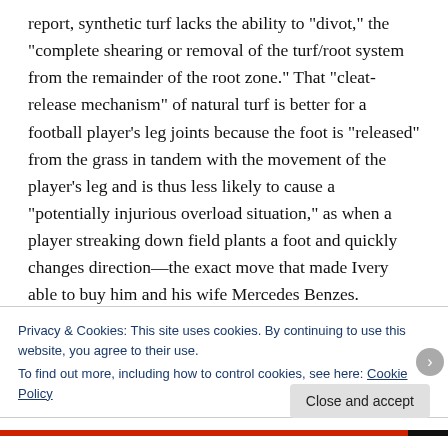report, synthetic turf lacks the ability to "divot," the "complete shearing or removal of the turf/root system from the remainder of the root zone." That "cleat-release mechanism" of natural turf is better for a football player's leg joints because the foot is "released" from the grass in tandem with the movement of the player's leg and is thus less likely to cause a "potentially injurious overload situation," as when a player streaking down field plants a foot and quickly changes direction—the exact move that made Ivery able to buy him and his wife Mercedes Benzes. Synthetic surfaces "have the capacity to generate greater shear force and torque on the foot and hence throughout
Privacy & Cookies: This site uses cookies. By continuing to use this website, you agree to their use.
To find out more, including how to control cookies, see here: Cookie Policy